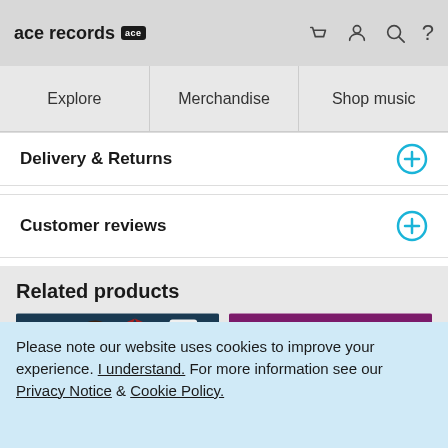ace records
Explore | Merchandise | Shop music
Delivery & Returns
Customer reviews
Related products
[Figure (photo): Album cover with male artist portrait against geometric pattern background, STEREO label at top]
[Figure (photo): Rick Nelson - Bright Lights album cover, purple/magenta background with STEREO label]
Please note our website uses cookies to improve your experience. I understand. For more information see our Privacy Notice & Cookie Policy.